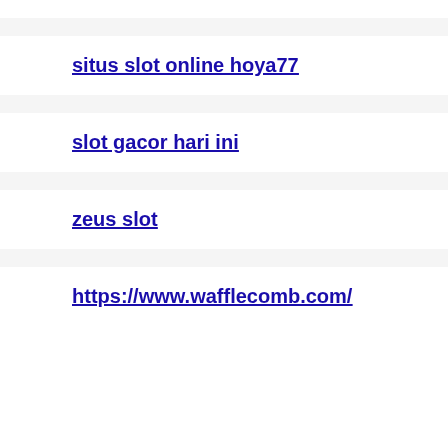[truncated link at top]
situs slot online hoya77
slot gacor hari ini
zeus slot
https://www.wafflecomb.com/